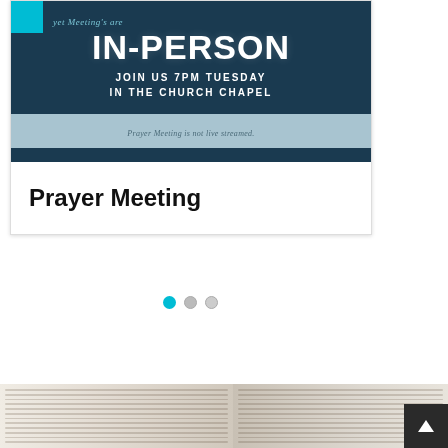[Figure (illustration): Church event card banner with dark navy background. Top shows partially visible handwritten-style text, large bold white text 'IN-PERSON', subtitle 'JOIN US 7PM TUESDAY IN THE CHURCH CHAPEL', a light blue horizontal strip with italic text 'Prayer Meeting is not live streamed.', and a dark navy bottom bar.]
Prayer Meeting
[Figure (other): Carousel navigation dots: one active cyan/blue filled dot, one medium gray circle, one light gray circle]
[Figure (photo): Partial photo of an open Bible with visible text columns, bottom of page. A dark gray scroll-to-top button is in the bottom right corner with an upward arrow.]